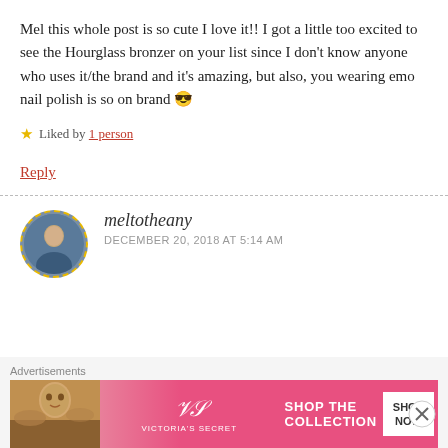Mel this whole post is so cute I love it!! I got a little too excited to see the Hourglass bronzer on your list since I don't know anyone who uses it/the brand and it's amazing, but also, you wearing emo nail polish is so on brand 😎
★ Liked by 1 person
Reply
meltotheany
DECEMBER 20, 2018 AT 5:14 AM
[Figure (other): Advertisement banner for Victoria's Secret showing a model, VS logo, 'SHOP THE COLLECTION' text and a 'SHOP NOW' button]